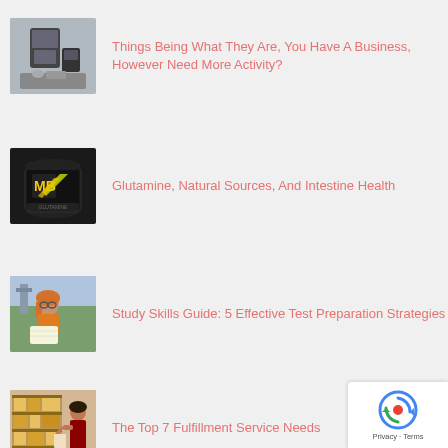Things Being What They Are, You Have A Business, However Need More Activity?
Glutamine, Natural Sources, And Intestine Health
Study Skills Guide: 5 Effective Test Preparation Strategies
The Top 7 Fulfillment Service Needs